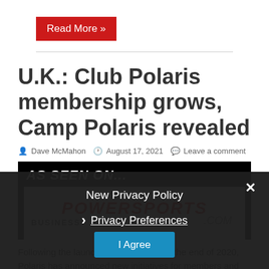Read More »
U.K.: Club Polaris membership grows, Camp Polaris revealed
Dave McMahon  August 17, 2021  Leave a comment
[Figure (screenshot): AS SEEN ON... PowerSports Business .COM logo on black and white background]
New Privacy Policy
Privacy Preferences
I Agree
Following the launch of Club Polaris at the end of 2020, Polaris has announced new initiatives for members and owners of